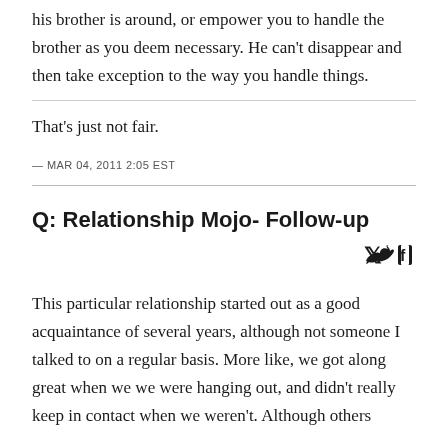his brother is around, or empower you to handle the brother as you deem necessary. He can't disappear and then take exception to the way you handle things.
That's just not fair.
— MAR 04, 2011 2:05 EST
Q: Relationship Mojo- Follow-up
This particular relationship started out as a good acquaintance of several years, although not someone I talked to on a regular basis. More like, we got along great when we we were hanging out, and didn't really keep in contact when we weren't. Although others